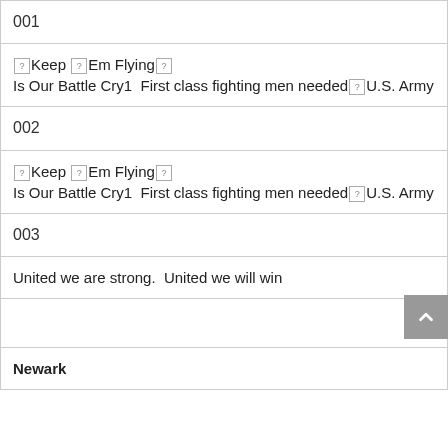| 001 |
| [?]Keep [?]Em Flying[?]
Is Our Battle Cry1  First class fighting men needed[?]U.S. Army |
| 002 |
| [?]Keep [?]Em Flying[?]
Is Our Battle Cry1  First class fighting men needed[?]U.S. Army |
| 003 |
| United we are strong.  United we will win |
|  |
| Newark |